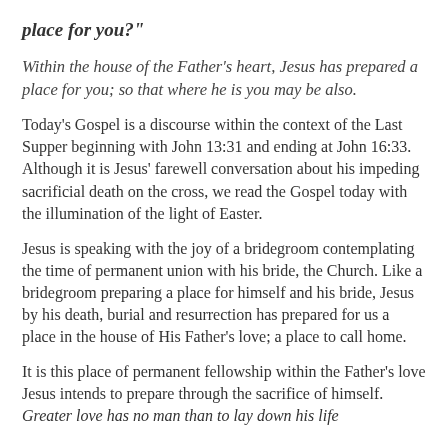place for you?"
Within the house of the Father's heart, Jesus has prepared a place for you; so that where he is you may be also.
Today's Gospel is a discourse within the context of the Last Supper beginning with John 13:31 and ending at John 16:33. Although it is Jesus' farewell conversation about his impeding sacrificial death on the cross, we read the Gospel today with the illumination of the light of Easter.
Jesus is speaking with the joy of a bridegroom contemplating the time of permanent union with his bride, the Church.  Like a bridegroom preparing a place for himself and his bride, Jesus by his death, burial and resurrection has prepared for us a place in the house of His Father's love; a place to call home.
It is this place of permanent fellowship within the Father's love Jesus intends to prepare through the sacrifice of himself.  Greater love has no man than to lay down his life